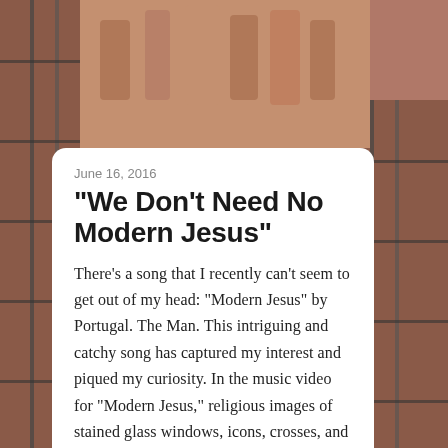[Figure (photo): Background photo of a gothic cathedral exterior with stone carvings and scaffolding, pinkish-brown toned]
June 16, 2016
"We Don't Need No Modern Jesus"
There’s a song that I recently can’t seem to get out of my head: “Modern Jesus” by Portugal. The Man. This intriguing and catchy song has captured my interest and piqued my curiosity. In the music video for “Modern Jesus,” religious images of stained glass windows, icons, crosses, and cathedrals are juxtaposed with clips portraying [...]